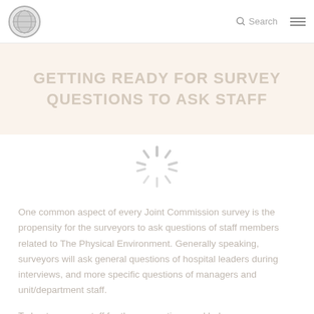GETTING READY FOR SURVEY QUESTIONS TO ASK STAFF
[Figure (illustration): Loading spinner / throbber icon in light gray]
One common aspect of every Joint Commission survey is the propensity for the surveyors to ask questions of staff members related to The Physical Environment. Generally speaking, surveyors will ask general questions of hospital leaders during interviews, and more specific questions of managers and unit/department staff.
To best prepare staff for these questions and help ensure a